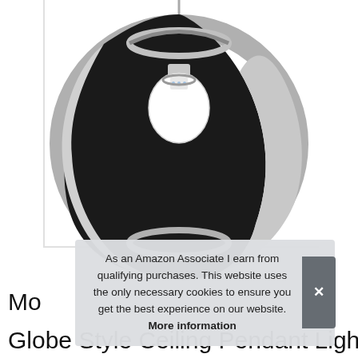[Figure (photo): Globe style ceiling pendant light with black and brushed steel/grey interlocking ring bands forming a sphere shape, white light bulb visible in center, hanging from a cord against white background]
As an Amazon Associate I earn from qualifying purchases. This website uses the only necessary cookies to ensure you get the best experience on our website. More information
Mo
Globe Style Ceiling Pendant Light